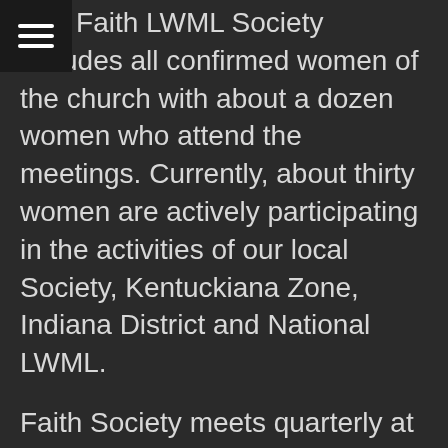The Faith LWML Society includes all confirmed women of the church with about a dozen women who attend the meetings. Currently, about thirty women are actively participating in the activities of our local Society, Kentuckiana Zone, Indiana District and National LWML.
Faith Society meets quarterly at 10:30 AM, usually on the second Saturday of February, May, August, and November, to plan our activities. Our Delegate Fund helps to send representatives to the Indiana District LWML Convention held every 2 years.
Our current Mission Projects are assembling School Kits for South Louisville Community Ministries and collecting Used Eyeglasses for